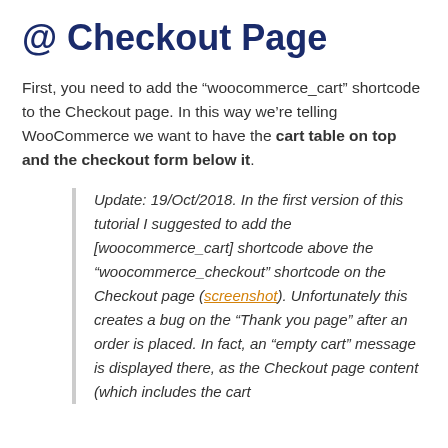@ Checkout Page
First, you need to add the “woocommerce_cart” shortcode to the Checkout page. In this way we’re telling WooCommerce we want to have the cart table on top and the checkout form below it.
Update: 19/Oct/2018. In the first version of this tutorial I suggested to add the [woocommerce_cart] shortcode above the “woocommerce_checkout” shortcode on the Checkout page (screenshot). Unfortunately this creates a bug on the “Thank you page” after an order is placed. In fact, an “empty cart” message is displayed there, as the Checkout page content (which includes the cart